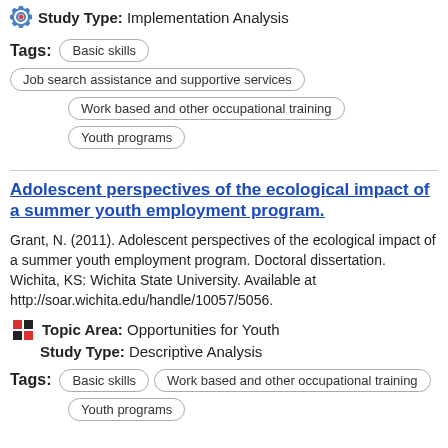Study Type: Implementation Analysis
Tags: Basic skills | Job search assistance and supportive services | Work based and other occupational training | Youth programs
Adolescent perspectives of the ecological impact of a summer youth employment program.
Grant, N. (2011). Adolescent perspectives of the ecological impact of a summer youth employment program. Doctoral dissertation. Wichita, KS: Wichita State University. Available at http://soar.wichita.edu/handle/10057/5056.
Topic Area: Opportunities for Youth
Study Type: Descriptive Analysis
Tags: Basic skills | Work based and other occupational training | Youth programs